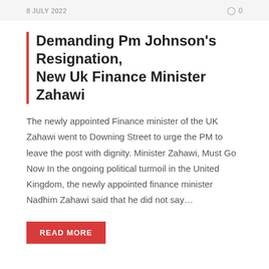8 JULY 2022   ○ 0
Demanding Pm Johnson's Resignation, New Uk Finance Minister Zahawi
The newly appointed Finance minister of the UK Zahawi went to Downing Street to urge the PM to leave the post with dignity. Minister Zahawi, Must Go Now In the ongoing political turmoil in the United Kingdom, the newly appointed finance minister Nadhim Zahawi said that he did not say...
READ MORE
NEWS